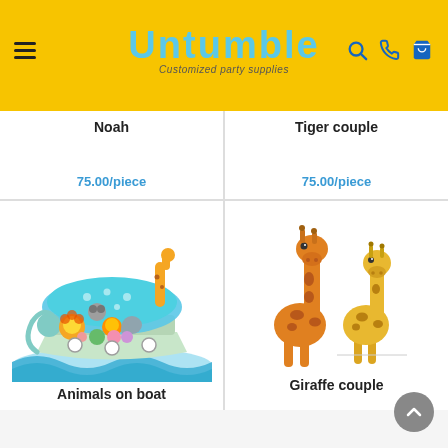[Figure (screenshot): Untumble website header with yellow background, hamburger menu, Untumble logo in blue, tagline 'Customized party supplies', search, WhatsApp, and cart icons]
Noah
75.00/piece
Tiger couple
75.00/piece
[Figure (illustration): Cartoon Noah's ark with colorful animals including lions, giraffe, koala, elephant, tiger, and other animals on a teal boat on blue waves]
Animals on boat
[Figure (illustration): Two cartoon giraffes, one taller orange and one shorter yellow, standing together — Giraffe couple product illustration]
Giraffe couple